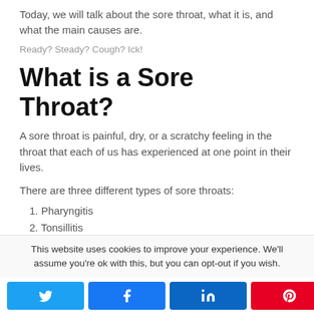Today, we will talk about the sore throat, what it is, and what the main causes are.
Ready? Steady? Cough? Ick!
What is a Sore Throat?
A sore throat is painful, dry, or a scratchy feeling in the throat that each of us has experienced at one point in their lives.
There are three different types of sore throats:
1. Pharyngitis
2. Tonsillitis
3. Laryngitis
This website uses cookies to improve your experience. We'll assume you're ok with this, but you can opt-out if you wish.